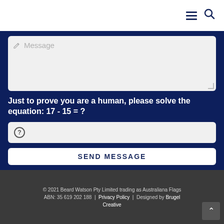[Figure (screenshot): Navigation bar with hamburger menu icon and search icon on white background]
[Figure (screenshot): Message textarea input field with pencil icon and placeholder text 'Message' on dark navy background]
Just to prove you are a human, please solve the equation: 17 - 15 = ?
[Figure (screenshot): Answer input field with question mark icon on dark navy background]
[Figure (screenshot): SEND MESSAGE button on white background]
© 2021 Beard Watson Pty Limited trading as Australiana Flags ABN: 35 619 202 188 | Privacy Policy | Designed by Brugel Creative